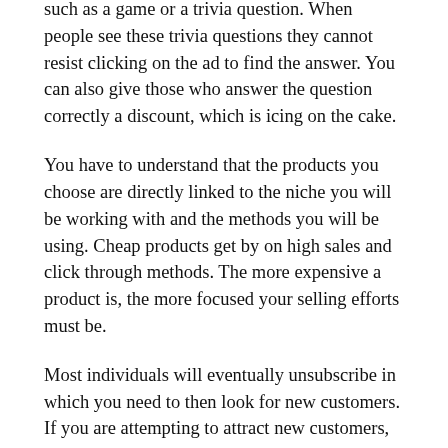such as a game or a trivia question. When people see these trivia questions they cannot resist clicking on the ad to find the answer. You can also give those who answer the question correctly a discount, which is icing on the cake.
You have to understand that the products you choose are directly linked to the niche you will be working with and the methods you will be using. Cheap products get by on high sales and click through methods. The more expensive a product is, the more focused your selling efforts must be.
Most individuals will eventually unsubscribe in which you need to then look for new customers. If you are attempting to attract new customers, be certain that you send them your best emails as a way to catch their interest.